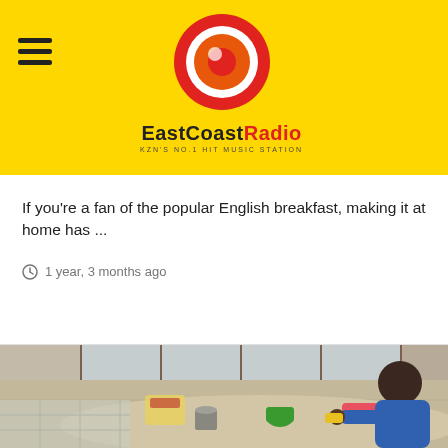EastCoastRadio — KZN'S NO.1 HIT MUSIC STATION
If you're a fan of the popular English breakfast, making it at home has ...
1 year, 3 months ago
[Figure (photo): A young child playing at a wooden table with colorful cups and food items, viewed from above. A window with curtains is visible in the background.]